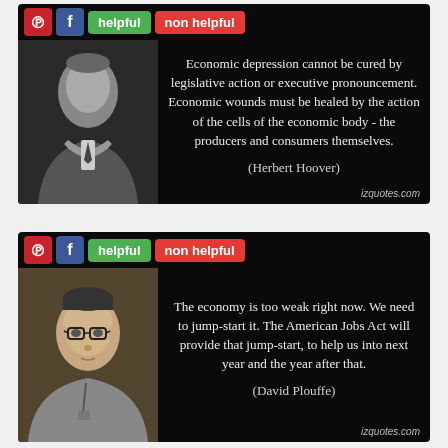[Figure (infographic): Quote card with black background showing Herbert Hoover portrait and quote: 'Economic depression cannot be cured by legislative action or executive pronouncement. Economic wounds must be healed by the action of the cells of the economic body - the producers and consumers themselves.' (Herbert Hoover) — izquotes.com]
[Figure (infographic): Quote card with black background showing David Plouffe portrait and quote: 'The economy is too weak right now. We need to jump-start it. The American Jobs Act will provide that jump-start, to help us into next year and the year after that.' (David Plouffe) — izquotes.com. Social buttons: Pinterest, Facebook, helpful, non helpful.]